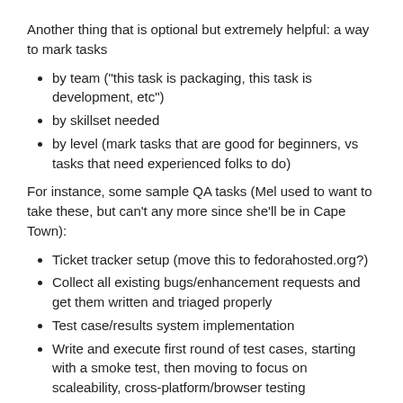Another thing that is optional but extremely helpful: a way to mark tasks
by team ("this task is packaging, this task is development, etc")
by skillset needed
by level (mark tasks that are good for beginners, vs tasks that need experienced folks to do)
For instance, some sample QA tasks (Mel used to want to take these, but can't any more since she'll be in Cape Town):
Ticket tracker setup (move this to fedorahosted.org?)
Collect all existing bugs/enhancement requests and get them written and triaged properly
Test case/results system implementation
Write and execute first round of test cases, starting with a smoke test, then moving to focus on scaleability, cross-platform/browser testing
QA infrastructure experimentation (probably looking at Mozilla's tools for starters)